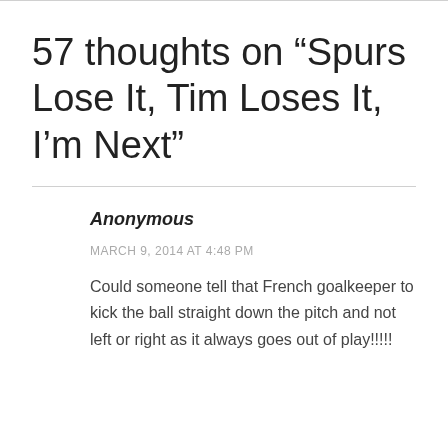57 thoughts on “Spurs Lose It, Tim Loses It, I’m Next”
Anonymous
MARCH 9, 2014 AT 4:48 PM
Could someone tell that French goalkeeper to kick the ball straight down the pitch and not left or right as it always goes out of play!!!!!